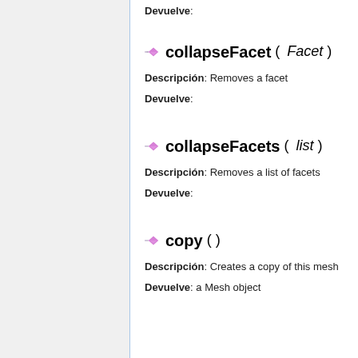Devuelve:
collapseFacet ( Facet )
Descripción: Removes a facet
Devuelve:
collapseFacets ( list )
Descripción: Removes a list of facets
Devuelve:
copy ( )
Descripción: Creates a copy of this mesh
Devuelve: a Mesh object